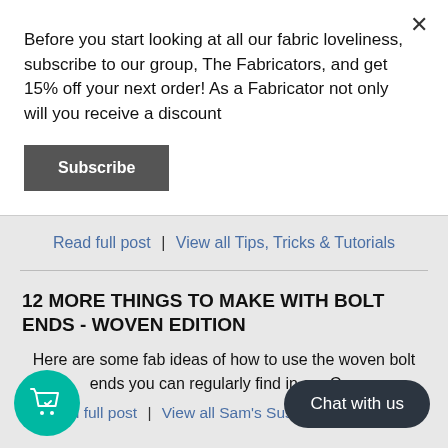Before you start looking at all our fabric loveliness, subscribe to our group, The Fabricators, and get 15% off your next order! As a Fabricator not only will you receive a discount
Subscribe
of bunting in no time!
Read full post  |  View all Tips, Tricks & Tutorials
12 MORE THINGS TO MAKE WITH BOLT ENDS - WOVEN EDITION
Here are some fab ideas of how to use the woven bolt ends you can regularly find in our Cas
Read full post  |  View all Sam's Sustainability Series
Chat with us